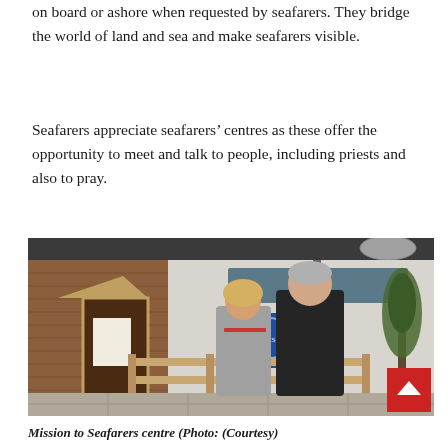on board or ashore when requested by seafarers. They bridge the world of land and sea and make seafarers visible.
Seafarers appreciate seafarers’ centres as these offer the opportunity to meet and talk to people, including priests and also to pray.
[Figure (photo): Two people standing outside a seafarers' centre building — a woman with blonde hair in a grey coat and a man in a dark coat. The building has a wooden facade on the left and a white/grey prefab structure on the right with a blue sign. There is a wooden railing/fence in the foreground and a small tree on the right.]
Mission to Seafarers centre (Photo: (Courtesy)